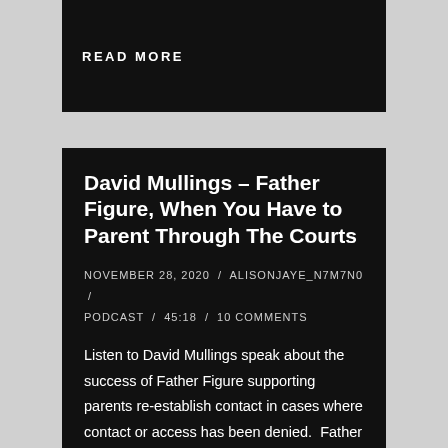READ MORE
David Mullings – Father Figure, When You Have to Parent Through The Courts
NOVEMBER 28, 2020 / ALISONJAYE_N7M7N0 / PODCAST / 45:18 / 10 COMMENTS
Listen to David Mullings speak about the success of Father Figure supporting parents re-establish contact in cases where contact or access has been denied.  Father Figure supports and maximizes the role parents